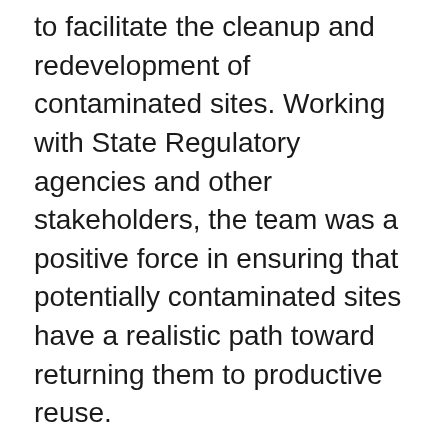to facilitate the cleanup and redevelopment of contaminated sites. Working with State Regulatory agencies and other stakeholders, the team was a positive force in ensuring that potentially contaminated sites have a realistic path toward returning them to productive reuse.
In collaboration with the United States Environmental Protection Agency (USEPA) the team developed a web-based decision support tool called “Sustainable Management Approaches and Revitalization Tools – electronic